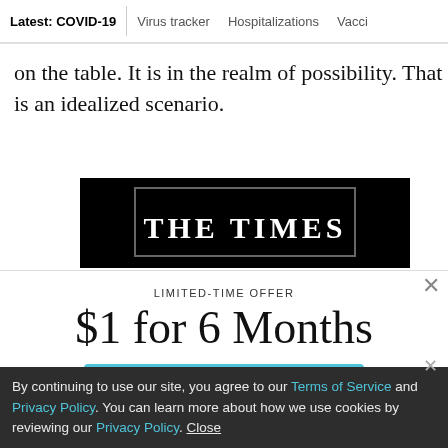Latest: COVID-19 | Virus tracker | Hospitalizations | Vacci
on the table. It is in the realm of possibility. That is an idealized scenario.
[Figure (logo): THE TIMES advertisement banner on black background with close button]
LIMITED-TIME OFFER
$1 for 6 Months
SUBSCRIBE NOW
By continuing to use our site, you agree to our Terms of Service and Privacy Policy. You can learn more about how we use cookies by reviewing our Privacy Policy. Close